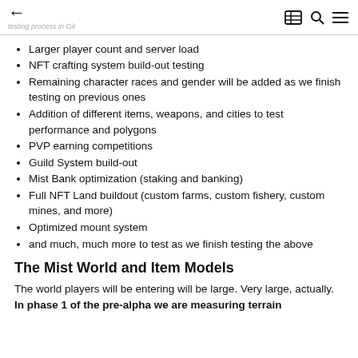← [back] [grid icon] [search icon] [menu icon]
Larger player count and server load
NFT crafting system build-out testing
Remaining character races and gender will be added as we finish testing on previous ones
Addition of different items, weapons, and cities to test performance and polygons
PVP earning competitions
Guild System build-out
Mist Bank optimization (staking and banking)
Full NFT Land buildout (custom farms, custom fishery, custom mines, and more)
Optimized mount system
and much, much more to test as we finish testing the above
The Mist World and Item Models
The world players will be entering will be large. Very large, actually. In phase 1 of the pre-alpha we are measuring terrain